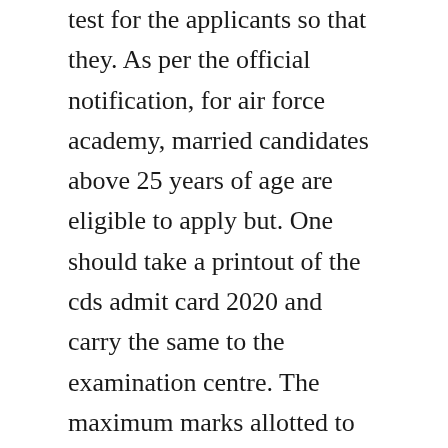test for the applicants so that they. As per the official notification, for air force academy, married candidates above 25 years of age are eligible to apply but. One should take a printout of the cds admit card 2020 and carry the same to the examination centre. The maximum marks allotted to the written examination and to the interviews are 300, 300, 300 and 200 each for admission to the indian military academy, indian naval academy, air force academy and officers training. Download cds pathfinder arihant